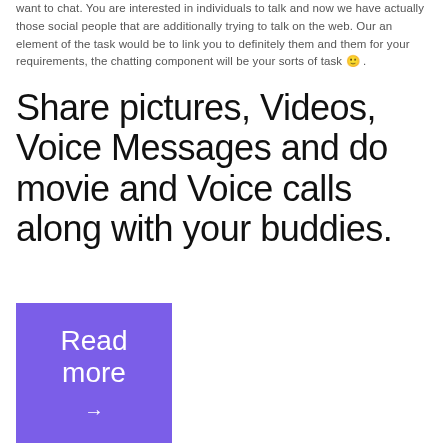want to chat. You are interested in individuals to talk and now we have actually those social people that are additionally trying to talk on the web. Our an element of the task would be to link you to definitely them and them for your requirements, the chatting component will be your sorts of task 🙂 .
Share pictures, Videos, Voice Messages and do movie and Voice calls along with your buddies.
[Figure (other): Purple/violet rectangular button with white text 'Read more' and a right-pointing arrow]